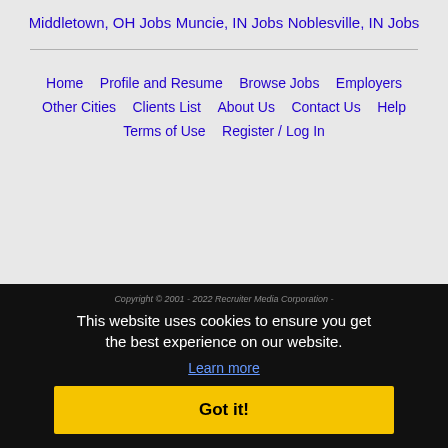Middletown, OH Jobs
Muncie, IN Jobs
Noblesville, IN Jobs
Home | Profile and Resume | Browse Jobs | Employers | Other Cities | Clients List | About Us | Contact Us | Help | Terms of Use | Register / Log In
Copyright © 2001 - 2022 Recruiter Media Corporation - Jobs in America
This website uses cookies to ensure you get the best experience on our website.
Learn more
Got it!